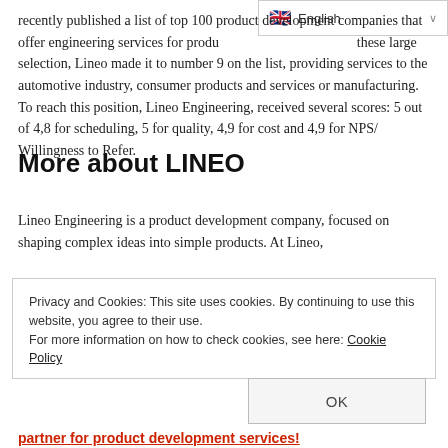[Figure (screenshot): Language selector dropdown showing English with flag icon and dropdown arrow]
recently published a list of top 100 product development companies that offer engineering services for product development. Among these large selection, Lineo made it to number 9 on the list, providing services to the automotive industry, consumer products and services or manufacturing. To reach this position, Lineo Engineering, received several scores: 5 out of 4,8 for scheduling, 5 for quality, 4,9 for cost and 4,9 for NPS/Willingness to Refer.
More about LINEO
Lineo Engineering is a product development company, focused on shaping complex ideas into simple products. At Lineo,
Privacy and Cookies: This site uses cookies. By continuing to use this website, you agree to their use.
For more information on how to check cookies, see here: Cookie Policy
OK
partner for product development services!